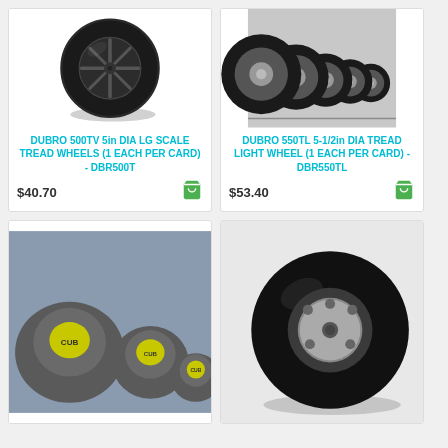[Figure (photo): Single large black foam wheel viewed from front angle, showing spoked hub design]
DUBRO 500TV 5in DIA LG SCALE TREAD WHEELS (1 EACH PER CARD) - DBR500T
$40.70
[Figure (photo): Five black tread light wheels of varying sizes arranged in a row, black and white photo]
DUBRO 550TL 5-1/2in DIA TREAD LIGHT WHEEL (1 EACH PER CARD) - DBR550TL
$53.40
[Figure (photo): Three grey/dark wheels with yellow Cub hub labels, different sizes, on grey background]
[Figure (photo): Large black foam wheel viewed from slight angle showing metal hub with holes]